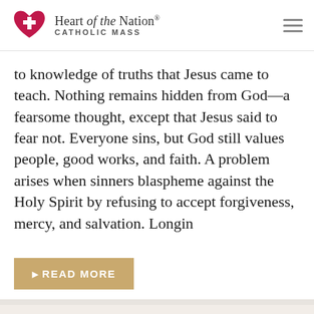Heart of the Nation. CATHOLIC MASS
to knowledge of truths that Jesus came to teach. Nothing remains hidden from God—a fearsome thought, except that Jesus said to fear not. Everyone sins, but God still values people, good works, and faith. A problem arises when sinners blaspheme against the Holy Spirit by refusing to accept forgiveness, mercy, and salvation. Longin
READ MORE
Twenty-Seventh Week in Ordinary Time